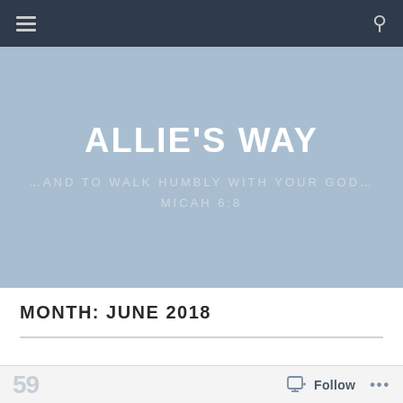Navigation bar with hamburger menu and search icon
ALLIE'S WAY
…AND TO WALK HUMBLY WITH YOUR GOD… MICAH 6:8
MONTH: JUNE 2018
59 Follow ...